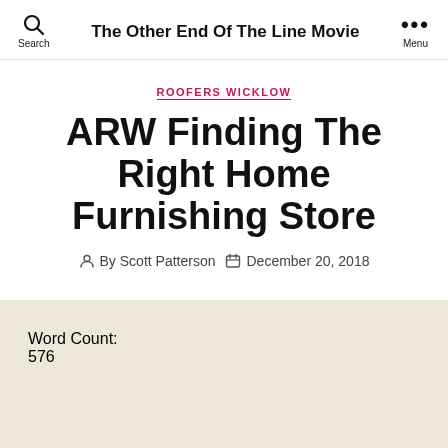The Other End Of The Line Movie
ROOFERS WICKLOW
ARW Finding The Right Home Furnishing Store
By Scott Patterson  December 20, 2018
Word Count:
576